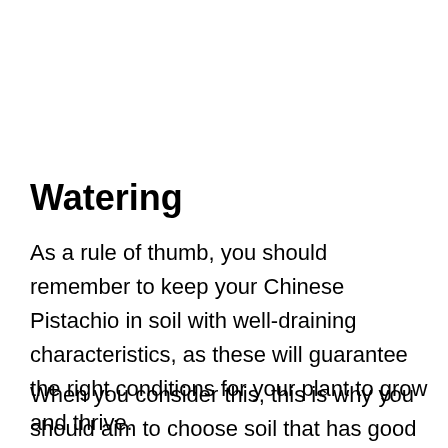Watering
As a rule of thumb, you should remember to keep your Chinese Pistachio in soil with well-draining characteristics, as these will guarantee the right conditions for your plant to grow and thrive.
When you consider this, this is why you should aim to choose soil that has good drainage properties to